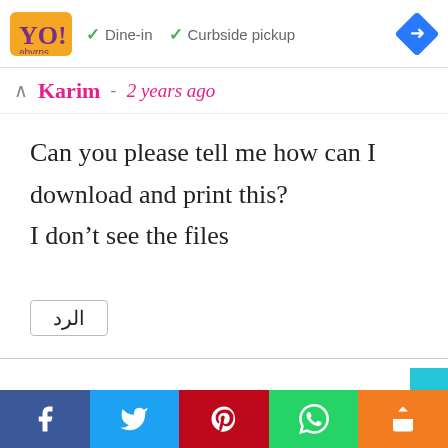[Figure (screenshot): Top bar with restaurant logo, Dine-in and Curbside pickup checkmarks, and blue navigation diamond icon]
Karim  -  2 years ago
Can you please tell me how can I download and print this?
I don't see the files
الرد
[Figure (infographic): Social share bar with Facebook, Twitter, Pinterest, WhatsApp, and share icons]